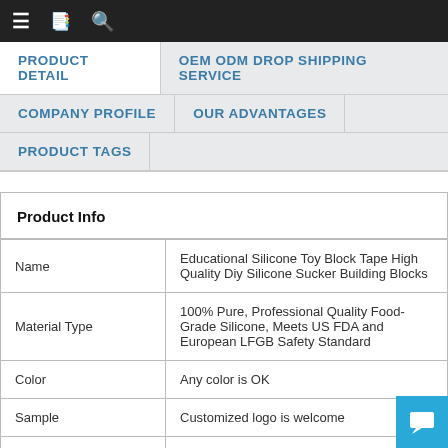≡ 📋 🔍
PRODUCT DETAIL | OEM ODM DROP SHIPPING SERVICE
COMPANY PROFILE | OUR ADVANTAGES
PRODUCT TAGS
| Field | Value |
| --- | --- |
| Name | Educational Silicone Toy Block Tape High Quality Diy Silicone Sucker Building Blocks |
| Material Type | 100% Pure, Professional Quality Food-Grade Silicone, Meets US FDA and European LFGB Safety Standard |
| Color | Any color is OK |
| Sample | Customized logo is welcome |
| Logo | Customized logo is welcome |
| Brief Description | 1) Free sample for our stock samples, but the should be paid by customers.2) For customiza bl |